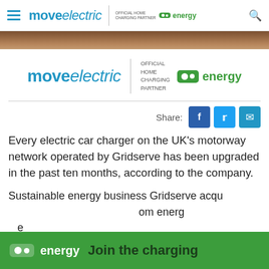move electric | OFFICIAL HOME CHARGING PARTNER ovo energy
[Figure (photo): Brown textured surface hero image strip]
[Figure (logo): move electric logo with OFFICIAL HOME CHARGING PARTNER ovo energy]
Share:
Every electric car charger on the UK's motorway network operated by Gridserve has been upgraded in the past ten months, according to the company.
Sustainable energy business Gridserve acquired the Electric Highway network from energy
[Figure (logo): ovo energy Join the charging banner overlay]